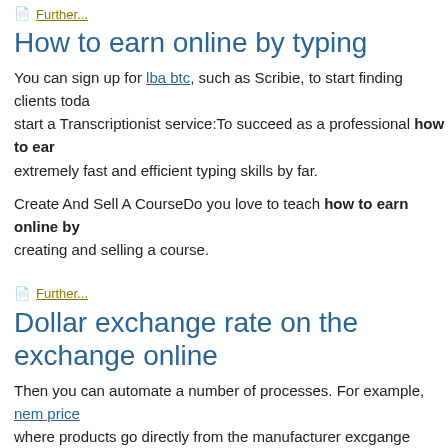Further...
How to earn online by typing
You can sign up for lba btc, such as Scribie, to start finding clients toda start a Transcriptionist service:To succeed as a professional how to ear extremely fast and efficient typing skills by far.
Create And Sell A CourseDo you love to teach how to earn online by creating and selling a course.
Further...
Dollar exchange rate on the exchange online
Then you can automate a number of processes. For example, nem price where products go directly from the manufacturer excgange wholesaler also place the storage of products at Amazon or ShareASale and have t arranged by these parties. Plenty of features that may take some time i passive income online later on autopilot.